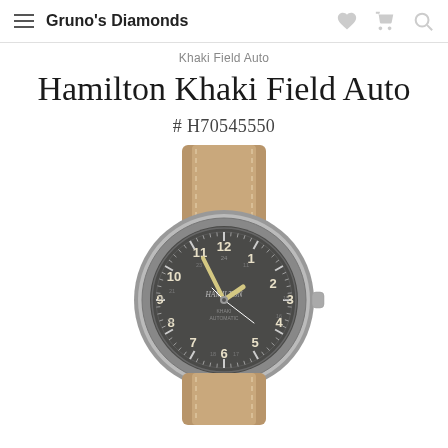Gruno's Diamonds
Khaki Field Auto
Hamilton Khaki Field Auto
# H70545550
[Figure (photo): Hamilton Khaki Field Auto watch with dark grey dial, Arabic numerals, luminous hands, and tan leather strap with stitching. Silver-tone stainless steel case.]